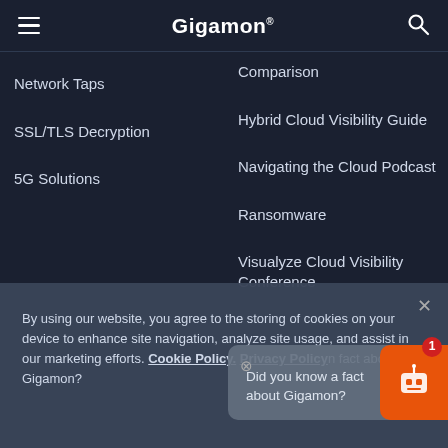Gigamon
Network Taps
SSL/TLS Decryption
5G Solutions
Comparison
Hybrid Cloud Visibility Guide
Navigating the Cloud Podcast
Ransomware
Visualyze Cloud Visibility Conference
By using our website, you agree to the storing of cookies on your device to enhance site navigation, analyze site usage, and assist in our marketing efforts. Cookie Policy. Privacy Policy
Did you know a fact about Gigamon?